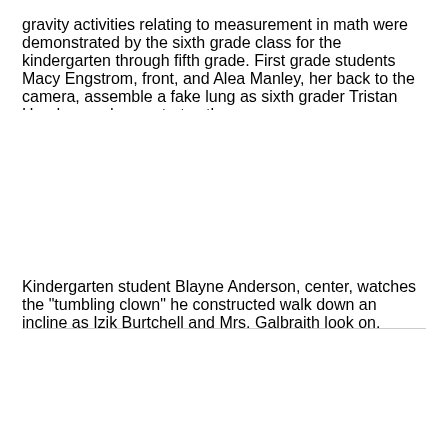gravity activities relating to measurement in math were demonstrated by the sixth grade class for the kindergarten through fifth grade. First grade students Macy Engstrom, front, and Alea Manley, her back to the camera, assemble a fake lung as sixth grader Tristan Henderson demonstrates the process.
[Figure (photo): Photo placeholder (white space) — image of first grade students assembling a fake lung with sixth grader demonstration]
Kindergarten student Blayne Anderson, center, watches the "tumbling clown" he constructed walk down an incline as Izik Burtchell and Mrs. Galbraith look on.
[Figure (photo): Photo placeholder (white space) — image of kindergarten student watching tumbling clown walk down incline]